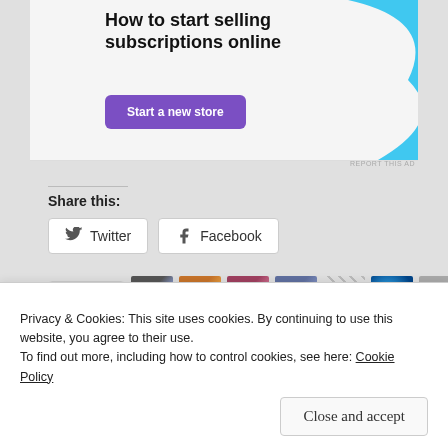[Figure (screenshot): Advertisement banner: 'How to start selling subscriptions online' with a purple 'Start a new store' button and a blue decorative shape on the right. 'REPORT THIS AD' text in small gray.]
Share this:
[Figure (screenshot): Social sharing buttons: Twitter and Facebook]
[Figure (screenshot): Like button with star icon, followed by 7 blogger avatar thumbnails]
7 bloggers like this.
Privacy & Cookies: This site uses cookies. By continuing to use this website, you agree to their use.
To find out more, including how to control cookies, see here: Cookie Policy
Close and accept